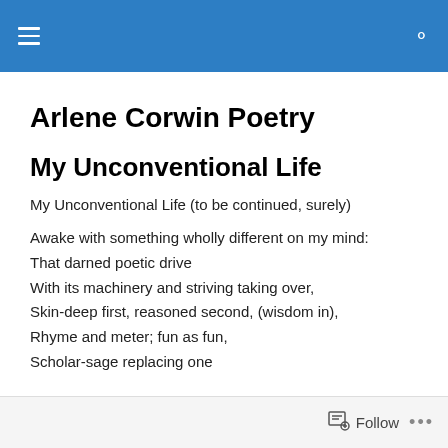Arlene Corwin Poetry [navigation header with hamburger menu and search icon]
Arlene Corwin Poetry
My Unconventional Life
My Unconventional Life (to be continued, surely)
Awake with something wholly different on my mind:
That darned poetic drive
With its machinery and striving taking over,
Skin-deep first, reasoned second, (wisdom in),
Rhyme and meter; fun as fun,
Scholar-sage replacing one
Follow ...